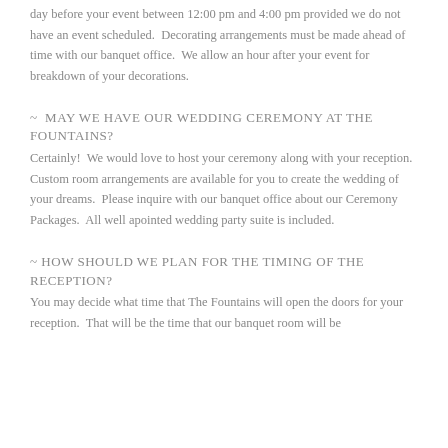day before your event between 12:00 pm and 4:00 pm provided we do not have an event scheduled. Decorating arrangements must be made ahead of time with our banquet office. We allow an hour after your event for breakdown of your decorations.
~ MAY WE HAVE OUR WEDDING CEREMONY AT THE FOUNTAINS?
Certainly! We would love to host your ceremony along with your reception. Custom room arrangements are available for you to create the wedding of your dreams. Please inquire with our banquet office about our Ceremony Packages. All well apointed wedding party suite is included.
~ HOW SHOULD WE PLAN FOR THE TIMING OF THE RECEPTION?
You may decide what time that The Fountains will open the doors for your reception. That will be the time that our banquet room will be